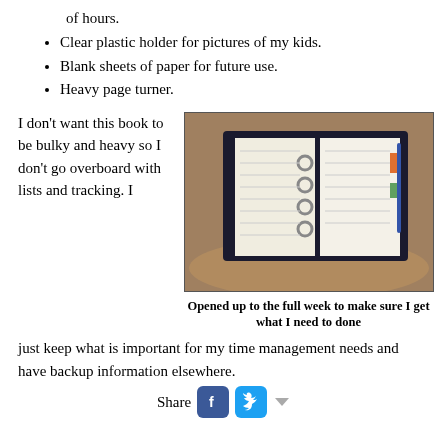of hours.
Clear plastic holder for pictures of my kids.
Blank sheets of paper for future use.
Heavy page turner.
I don't want this book to be bulky and heavy so I don't go overboard with lists and tracking. I just keep what is important for my time management needs and have backup information elsewhere.
[Figure (photo): An open day planner/binder showing weekly schedule pages with rings and tabs, placed on a wooden table.]
Opened up to the full week to make sure I get what I need to done